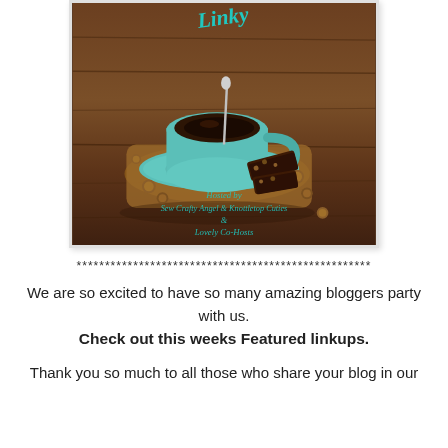[Figure (photo): Photo of a teal/turquoise coffee cup with saucer on a wooden board, with chocolate biscotti cookies and hazelnuts scattered around. Text overlay in teal reads 'Linky' at top and 'Hosted by Sew Crafty Angel & Knottletop Cuties & Lovely Co-Hosts' in the lower portion.]
****************************************************
We are so excited to have so many amazing bloggers party with us.
Check out this weeks Featured linkups.
Thank you so much to all those who share your blog in our